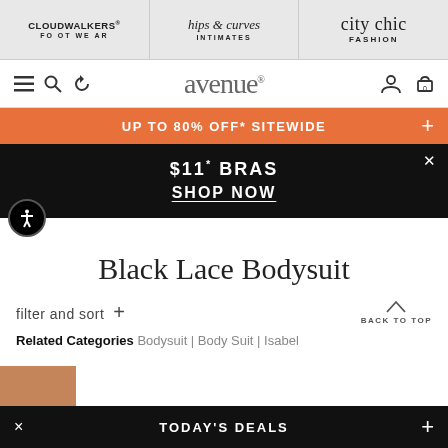CLOUDWALKERS FOOTWEAR | hips & curves INTIMATES | city chic FASHION
[Figure (screenshot): Avenue website navigation bar with hamburger menu, search, refresh icons, Avenue logo, user account and cart icons]
UP TO 80% OFF* SITEWIDE
$11* BRAS SHOP NOW
Black Lace Bodysuit
filter and sort +
BACK TO TOP
Related Categories Bodysuit | Body Suit | Isabel
TODAY'S DEALS